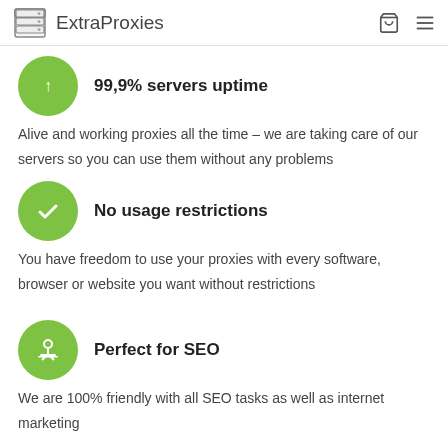ExtraProxies
99,9% servers uptime
Alive and working proxies all the time – we are taking care of our servers so you can use them without any problems
No usage restrictions
You have freedom to use your proxies with every software, browser or website you want without restrictions
Perfect for SEO
We are 100% friendly with all SEO tasks as well as internet marketing